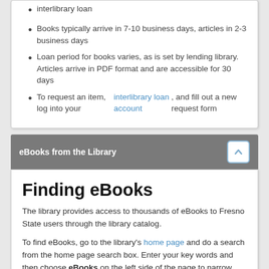interlibrary loan
Books typically arrive in 7-10 business days, articles in 2-3 business days
Loan period for books varies, as is set by lending library. Articles arrive in PDF format and are accessible for 30 days
To request an item, log into your interlibrary loan account, and fill out a new request form
eBooks from the Library
Finding eBooks
The library provides access to thousands of eBooks to Fresno State users through the library catalog.
To find eBooks, go to the library's home page and do a search from the home page search box. Enter your key words and then choose eBooks on the left side of the page to narrow your results.
[Figure (photo): Devices (tablet, smartphone) showing library ebook interface]